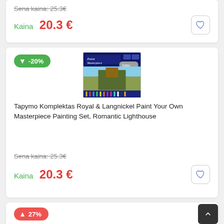Sena kaina: 25.3€
Kaina  20.3 €
[Figure (photo): Product image of Royal & Langnickel Paint Your Own Masterpiece painting kit in blue packaging showing a cottage scene]
Tapymo Komplektas Royal & Langnickel Paint Your Own Masterpiece Painting Set, Romantic Lighthouse
Sena kaina: 25.3€
Kaina  20.3 €
↑ 27%